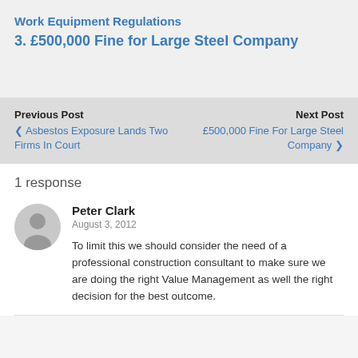Work Equipment Regulations
3. £500,000 Fine for Large Steel Company
Previous Post
< Asbestos Exposure Lands Two Firms In Court
Next Post
£500,000 Fine For Large Steel Company >
1 response
Peter Clark
August 3, 2012
To limit this we should consider the need of a professional construction consultant to make sure we are doing the right Value Management as well the right decision for the best outcome.